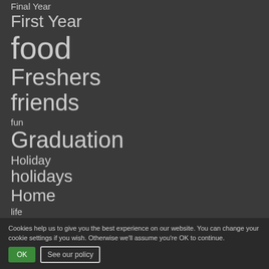Final Year
First Year
food
Freshers
friends
fun
Graduation
Holiday
holidays
Home
life
mental health
money
Nottingham
placement
Procrastination
Cookies help us to give you the best experience on our website. You can change your cookie settings if you wish. Otherwise we'll assume you're OK to continue.
OK
See our policy